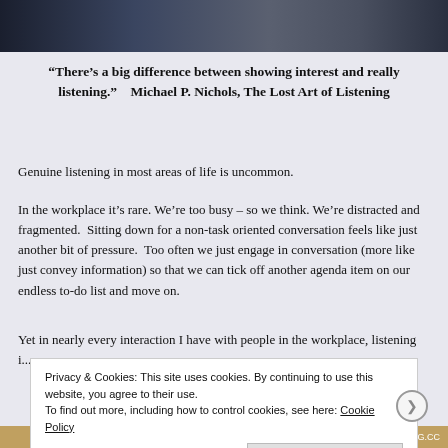[Figure (photo): Dark photograph showing people in a workplace or meeting setting, cropped at the top of the page]
“There’s a big difference between showing interest and really listening.”    Michael P. Nichols, The Lost Art of Listening
Genuine listening in most areas of life is uncommon.
In the workplace it’s rare. We’re too busy – so we think. We’re distracted and fragmented.  Sitting down for a non-task oriented conversation feels like just another bit of pressure.  Too often we just engage in conversation (more like just convey information) so that we can tick off another agenda item on our endless to-do list and move on.
Yet in nearly every interaction I have with people in the workplace, listening i... M...
Privacy & Cookies: This site uses cookies. By continuing to use this website, you agree to their use.
To find out more, including how to control cookies, see here: Cookie Policy
Close and accept